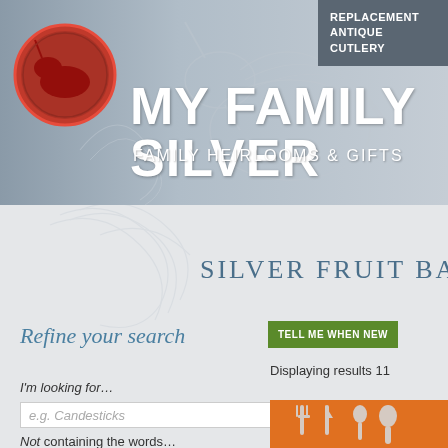[Figure (screenshot): Website header banner for My Family Silver with unicorn heraldic illustration background, red wax seal logo on left, and dark gray box with REPLACEMENT ANTIQUE CUTLERY text in top right]
MY FAMILY SILVER
FAMILY HEIRLOOMS & GIFTS
REPLACEMENT ANTIQUE CUTLERY
SILVER FRUIT BASK
Refine your search
TELL ME WHEN NEW
Displaying results 11
I'm looking for…
e.g. Candesticks
Not containing the words…